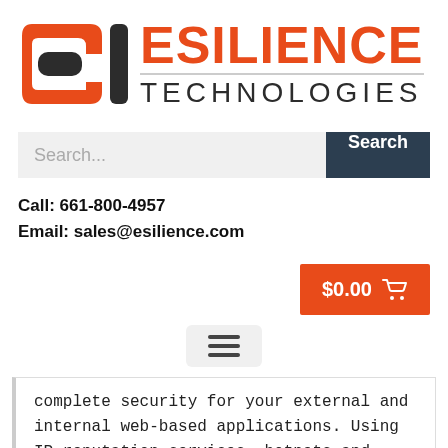[Figure (logo): Esilience Technologies logo with orange CT icon and orange ESILIENCE text with gray TECHNOLOGIES below]
[Figure (screenshot): Search bar with gray input field showing 'Search...' placeholder and dark navy 'Search' button]
Call: 661-800-4957
Email: sales@esilience.com
[Figure (screenshot): Orange cart button showing $0.00 with shopping cart icon]
[Figure (screenshot): Hamburger menu button with three horizontal bars on gray background]
complete security for your external and internal web-based applications. Using IP reputation services, botnets and other malicious sources are automatically screened out before they can do any